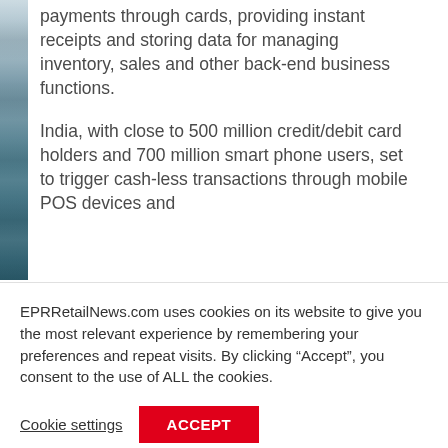[Figure (photo): Left-side photo strip showing retail/store imagery in a narrow vertical band]
payments through cards, providing instant receipts and storing data for managing inventory, sales and other back-end business functions.
India, with close to 500 million credit/debit card holders and 700 million smart phone users, set to trigger cash-less transactions through mobile POS devices and
EPRRetailNews.com uses cookies on its website to give you the most relevant experience by remembering your preferences and repeat visits. By clicking “Accept”, you consent to the use of ALL the cookies.
Cookie settings
ACCEPT